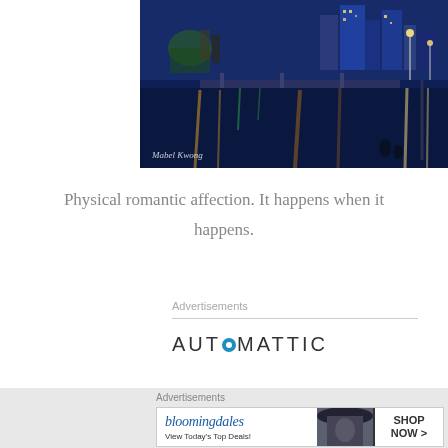[Figure (photo): Night cityscape of Melbourne waterfront with city lights reflected in the river, two people sitting at the bank, watermark 'Mabel Kwong' in bottom left]
Physical romantic affection. It happens when it happens.
Advertisements
[Figure (logo): Automattic logo with circular icon replacing the 'O']
[Figure (screenshot): Bloomingdales advertisement with text 'bloomingdales', 'View Today's Top Deals!', woman in hat, and 'SHOP NOW >' button]